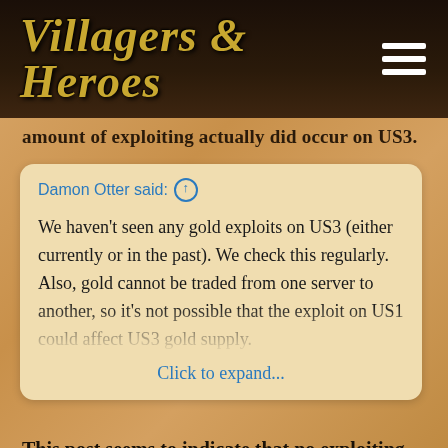Villagers & Heroes
amount of exploiting actually did occur on US3.
Damon Otter said: ↑
We haven't seen any gold exploits on US3 (either currently or in the past). We check this regularly. Also, gold cannot be traded from one server to another, so it's not possible that the exploit on US1 could affect US3 gold supply.
Click to expand...
This post seems to indicate that no exploiting actually occurred on US3.
Given that some past exploiting on US3 and no past